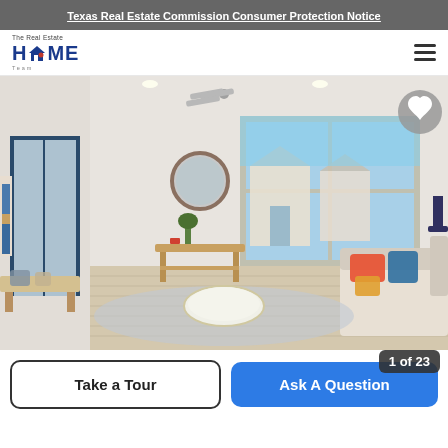Texas Real Estate Commission Consumer Protection Notice
[Figure (logo): The Real Estate HOME Team logo with house icon]
[Figure (photo): Interior photo of a modern living room with hardwood floors, large window with suburban view, ceiling fan, round mirror, console table, and sofa with colorful pillows. Counter badge shows 1 of 23.]
Take a Tour
Ask A Question
1 of 23